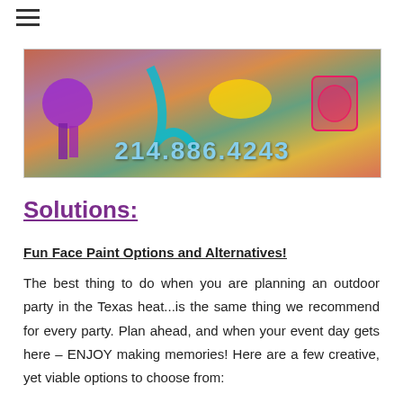≡
[Figure (photo): Banner image showing arms with glitter tattoos and face paint designs, with a purple ribbon/rosette on the left. Phone number 214.886.4243 displayed in light blue text overlay at the bottom.]
Solutions:
Fun Face Paint Options and Alternatives!
The best thing to do when you are planning an outdoor party in the Texas heat...is the same thing we recommend for every party. Plan ahead, and when your event day gets here – ENJOY making memories! Here are a few creative, yet viable options to choose from: